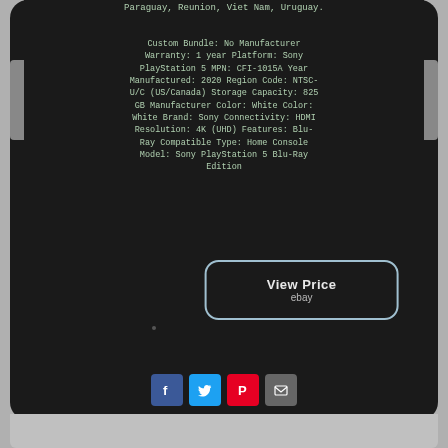Paraguay, Reunion, Viet Nam, Uruguay.
Custom Bundle: No Manufacturer Warranty: 1 year Platform: Sony PlayStation 5 MPN: CFI-1015A Year Manufactured: 2020 Region Code: NTSC-U/C (US/Canada) Storage Capacity: 825 GB Manufacturer Color: White Color: White Brand: Sony Connectivity: HDMI Resolution: 4K (UHD) Features: Blu-Ray Compatible Type: Home Console Model: Sony PlayStation 5 Blu-Ray Edition
[Figure (other): View Price button with ebay label]
[Figure (other): Social share icons: Facebook, Twitter, Pinterest, Email]